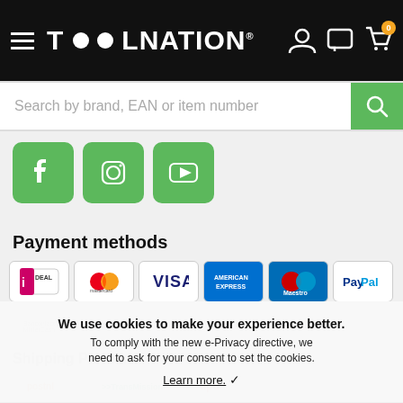[Figure (logo): Toolnation website header with logo, menu icon, and cart/chat/user icons on black background]
[Figure (screenshot): Search bar with placeholder text 'Search by brand, EAN or item number' and green search button]
[Figure (infographic): Three green social media icons: Facebook, Instagram, YouTube]
Payment methods
[Figure (infographic): Payment method logos: iDEAL, Mastercard, VISA, American Express, Maestro, PayPal]
[Figure (infographic): Cookie consent overlay: We use cookies to make your experience better. To comply with the new e-Privacy directive, we need to ask for your consent to set the cookies. Learn more. checkmark]
We use cookies to make your experience better.
To comply with the new e-Privacy directive, we need to ask for your consent to set the cookies.
Learn more. ✓
Shipping Partners